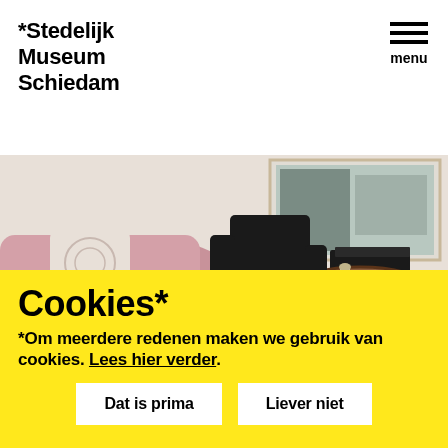*Stedelijk Museum Schiedam
[Figure (photo): Interior room scene showing a pink tufted sofa/chaise with patterned cushions, a person in black clothing partially visible, a round wooden side table with decorative items, and a framed artwork on the wall in the background. Beige/tan carpet floor.]
Cookies*
*Om meerdere redenen maken we gebruik van cookies. Lees hier verder.
Dat is prima
Liever niet